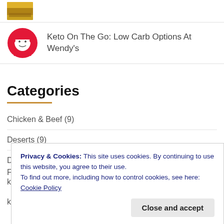[Figure (photo): Small thumbnail of food item]
[Figure (logo): Wendy's logo]
Keto On The Go: Low Carb Options At Wendy's
Categories
Chicken & Beef (9)
Deserts (9)
Diet (21)
Privacy & Cookies: This site uses cookies. By continuing to use this website, you agree to their use.
To find out more, including how to control cookies, see here: Cookie Policy
Close and accept